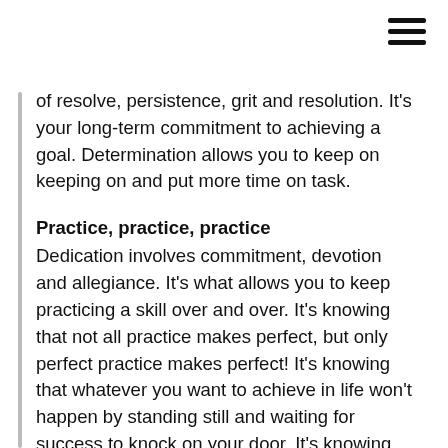[Figure (other): Hamburger menu icon (three horizontal lines) in top right corner]
of resolve, persistence, grit and resolution. It's your long-term commitment to achieving a goal. Determination allows you to keep on keeping on and put more time on task.
Practice, practice, practice
Dedication involves commitment, devotion and allegiance. It's what allows you to keep practicing a skill over and over. It's knowing that not all practice makes perfect, but only perfect practice makes perfect! It's knowing that whatever you want to achieve in life won't happen by standing still and waiting for success to knock on your door. It's knowing you must break down your journey on the path of most resistance into small, bite-sized chunks.
Inner fire
Drive is an urge, desire and need to attain a goal. It's